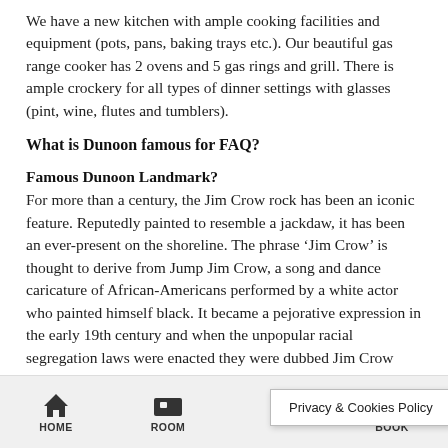We have a new kitchen with ample cooking facilities and equipment (pots, pans, baking trays etc.). Our beautiful gas range cooker has 2 ovens and 5 gas rings and grill. There is ample crockery for all types of dinner settings with glasses (pint, wine, flutes and tumblers).
What is Dunoon famous for FAQ?
Famous Dunoon Landmark?
For more than a century, the Jim Crow rock has been an iconic feature. Reputedly painted to resemble a jackdaw, it has been an ever-present on the shoreline. The phrase ‘Jim Crow’ is thought to derive from Jump Jim Crow, a song and dance caricature of African-Americans performed by a white actor who painted himself black. It became a pejorative expression in the early 19th century and when the unpopular racial segregation laws were enacted they were dubbed Jim Crow
HOME   ROOM   Privacy & Cookies Policy   BOOK